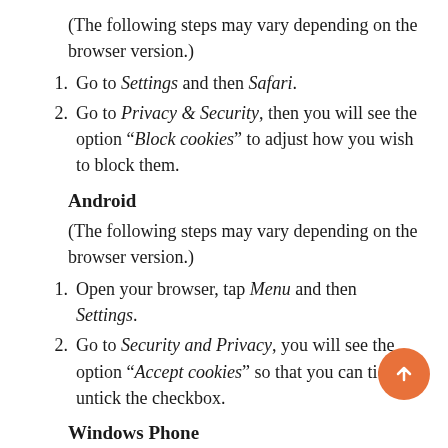(The following steps may vary depending on the browser version.)
1. Go to Settings and then Safari.
2. Go to Privacy & Security, then you will see the option “Block cookies” to adjust how you wish to block them.
Android
(The following steps may vary depending on the browser version.)
1. Open your browser, tap Menu and then Settings.
2. Go to Security and Privacy, you will see the option “Accept cookies” so that you can tick or untick the checkbox.
Windows Phone